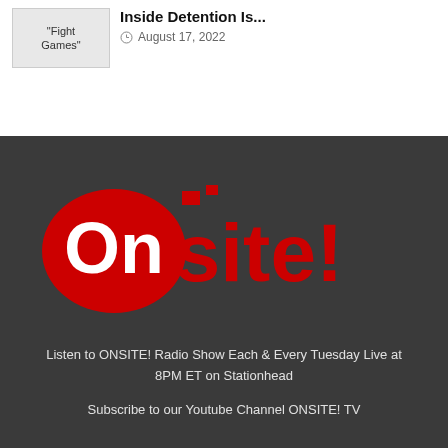Inside Detention Is...
August 17, 2022
[Figure (logo): ONSITE! logo in red and white on dark gray background]
Listen to ONSITE! Radio Show Each & Every Tuesday Live at 8PM ET on Stationhead
Subscribe to our Youtube Channel ONSITE! TV